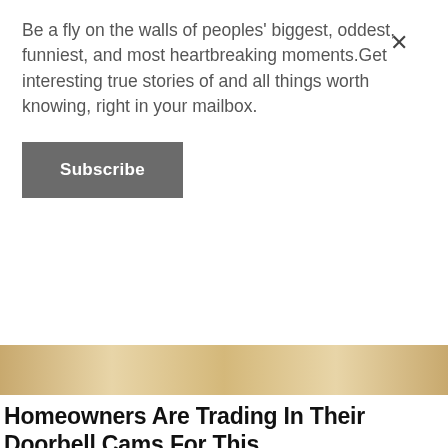Be a fly on the walls of peoples' biggest, oddest, funniest, and most heartbreaking moments.Get interesting true stories of and all things worth knowing, right in your mailbox.
Subscribe
[Figure (photo): Partial banner photo showing a stone or textured wall surface in sandy/beige tones]
Homeowners Are Trading In Their Doorbell Cams For This
Keilini
[Figure (photo): A young woman smiling while receiving dental treatment, with dentists wearing teal gloves working on her teeth. A teal tooth-shaped object is visible on the right side.]